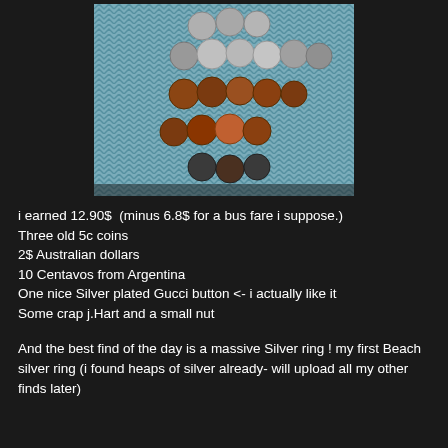[Figure (photo): Photo of multiple coins arranged on a blue chevron-patterned paper/cloth surface. Coins include silver-colored and copper/brown coins arranged in rows.]
i earned 12.90$  (minus 6.8$ for a bus fare i suppose.)
Three old 5c coins
2$ Australian dollars
10 Centavos from Argentina
One nice Silver plated Gucci button <- i actually like it
Some crap j.Hart and a small nut

And the best find of the day is a massive Silver ring ! my first Beach silver ring (i found heaps of silver already- will upload all my other finds later)